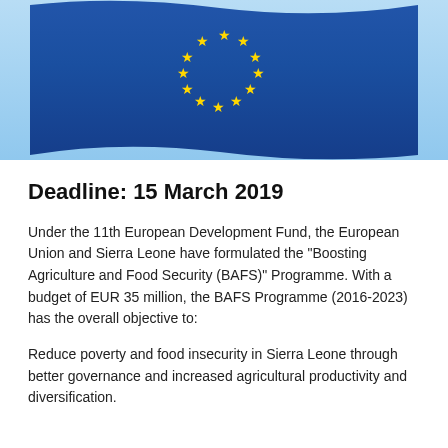[Figure (photo): EU flag (blue with yellow stars) waving against a light blue sky background, cropped to show upper portion of the flag.]
Deadline: 15 March 2019
Under the 11th European Development Fund, the European Union and Sierra Leone have formulated the “Boosting Agriculture and Food Security (BAFS)” Programme. With a budget of EUR 35 million, the BAFS Programme (2016-2023) has the overall objective to:
Reduce poverty and food insecurity in Sierra Leone through better governance and increased agricultural productivity and diversification.